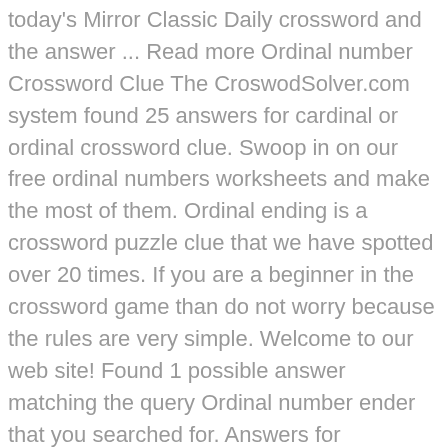today's Mirror Classic Daily crossword and the answer ... Read more Ordinal number Crossword Clue The CroswodSolver.com system found 25 answers for cardinal or ordinal crossword clue. Swoop in on our free ordinal numbers worksheets and make the most of them. Ordinal ending is a crossword puzzle clue that we have spotted over 20 times. If you are a beginner in the crossword game than do not worry because the rules are very simple. Welcome to our web site! Found 1 possible answer matching the query Ordinal number ender that you searched for. Answers for ORDINAL-NUMBER SUFFIX crossword clue. If you're still haven't solved the crossword clue Ordinal produced by philosopher in hot resort then why not search our database by the letters you have already! We found 38 answers for the crossword clue Ordinal. 8227. The Crossword Solver found 20 answers to the ordinal number crossword clue. N T H. Last or greatest in an indefinitely large series; "to the nth degree" Contribute an answer. We have given Ordinal number a popularity rating of 'Very Common'